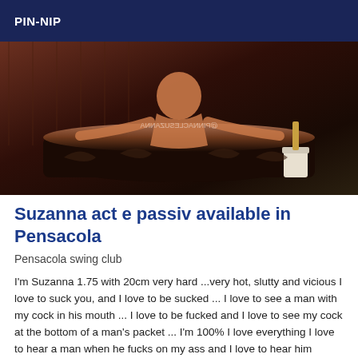PIN-NIP
[Figure (photo): A woman posing in/near a decorative dark bathtub in a dimly lit room with champagne bucket nearby. Watermark text visible on image.]
Suzanna act e passiv available in Pensacola
Pensacola swing club
I'm Suzanna 1.75 with 20cm very hard ...very hot, slutty and vicious I love to suck you, and I love to be sucked ... I love to see a man with my cock in his mouth ... I love to be fucked and I love to see my cock at the bottom of a man's packet ... I'm 100% I love everything I love to hear a man when he fucks on my ass and I love to hear him